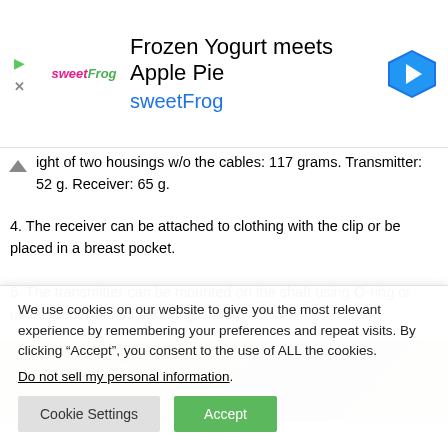[Figure (other): sweetFrog advertisement banner with logo, title 'Frozen Yogurt meets Apple Pie', brand name 'sweetFrog', navigation arrow icon, and close/play controls]
ight of two housings w/o the cables: 117 grams. Transmitter: 52 g. Receiver: 65 g.
4. The receiver can be attached to clothing with the clip or be placed in a breast pocket.
5. The transmitter can be mounted on the shaft using O-ring or usual rubber bands (if O-ring is lost).
[Figure (photo): Partial photo of light-colored floor tiles with grout lines visible]
We use cookies on our website to give you the most relevant experience by remembering your preferences and repeat visits. By clicking “Accept”, you consent to the use of ALL the cookies.
Do not sell my personal information.